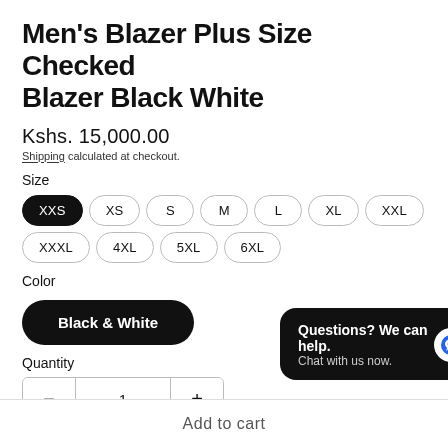Men's Blazer Plus Size Checked Blazer Black White
Kshs. 15,000.00
Shipping calculated at checkout.
Size
XXS (selected), XS, S, M, L, XL, XXL, XXXL, 4XL, 5XL, 6XL
Color
Black & White
Quantity
1
Questions? We can help. Chat with us now.
Add to cart